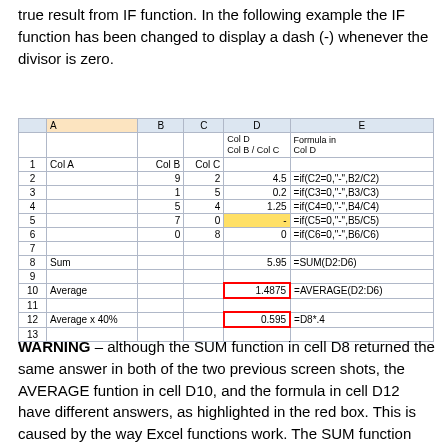true result from IF function. In the following example the IF function has been changed to display a dash (-) whenever the divisor is zero.
[Figure (screenshot): Spreadsheet screenshot showing columns A-E with rows 1-13. Column A has labels Col A, Sum, Average, Average x 40%. Column B has Col B with values 9,1,5,7,0. Column C has Col C with values 2,5,4,0,8. Column D has Col D (Col B / Col C) with values 4.5, 0.2, 1.25, [dash highlighted yellow], 0, sum=5.95, average=1.4875 (red box), 0.595 (red box). Column E has IF formulas. Rows 10 and 12 D values are highlighted in a red box.]
WARNING – although the SUM function in cell D8 returned the same answer in both of the two previous screen shots, the AVERAGE funtion in cell D10, and the formula in cell D12 have different answers, as highlighted in the red box. This is caused by the way Excel functions work. The SUM function treats text as a zero. Thus